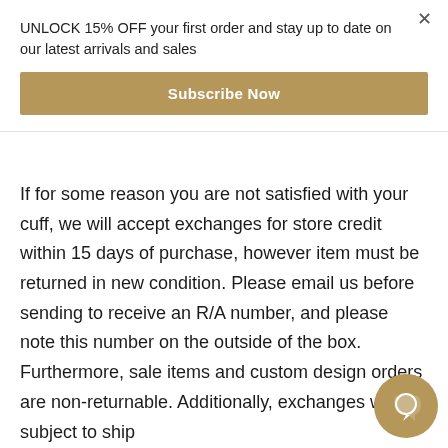UNLOCK 15% OFF your first order and stay up to date on our latest arrivals and sales
Subscribe Now
If for some reason you are not satisfied with your cuff, we will accept exchanges for store credit within 15 days of purchase, however item must be returned in new condition. Please email us before sending to receive an R/A number, and please note this number on the outside of the box. Furthermore, sale items and custom design orders are non-returnable. Additionally, exchanges will be subject to shipping charges.
[Figure (other): Chat bubble icon (golden circle with speech bubble)]